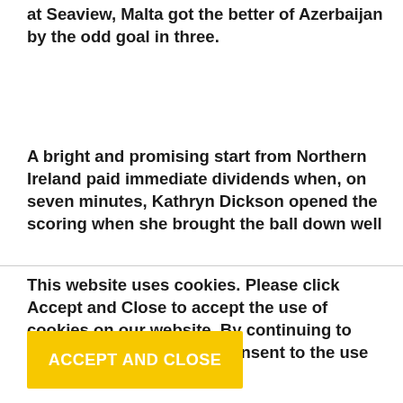at Seaview, Malta got the better of Azerbaijan by the odd goal in three.
A bright and promising start from Northern Ireland paid immediate dividends when, on seven minutes, Kathryn Dickson opened the scoring when she brought the ball down well
This website uses cookies. Please click Accept and Close to accept the use of cookies on our website. By continuing to browse our website you consent to the use of cookies on this website.
ACCEPT AND CLOSE